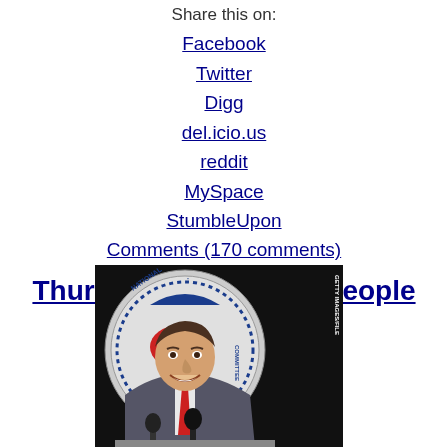Share this on: Facebook Twitter Digg del.icio.us reddit MySpace StumbleUpon Comments (170 comments)
Thursday's intriguing people
[Figure (photo): A smiling man in a suit and red tie standing at a podium with microphones, in front of a Republican National Committee seal/logo backdrop. A Getty Images watermark is visible on the right side of the image.]